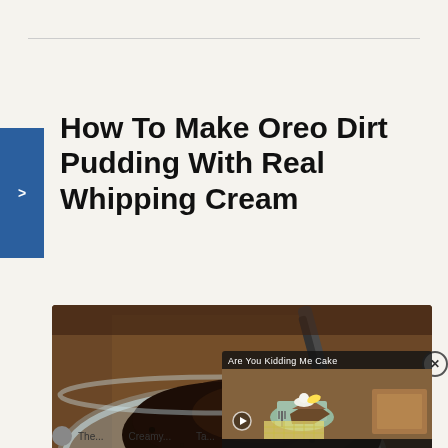How To Make Oreo Dirt Pudding With Real Whipping Cream
[Figure (photo): A glass bowl filled with crushed Oreo cookie crumbs resembling dirt, with a spoon/utensil visible, photographed from above on a wooden surface. An embedded video popup shows 'Are You Kidding Me Cake' with a thumbnail of a slice of cake on a plate with whipped cream and a fork.]
The...Creamy...